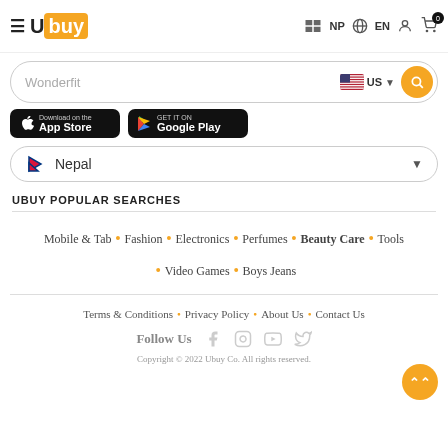Ubuy | NP | EN | Cart (0)
Wonderfit | US
[Figure (screenshot): App Store and Google Play download buttons]
Nepal
UBUY POPULAR SEARCHES
Mobile & Tab • Fashion • Electronics • Perfumes • Beauty Care • Tools • Video Games • Boys Jeans
Terms & Conditions • Privacy Policy • About Us • Contact Us
Follow Us
Copyright © 2022 Ubuy Co. All rights reserved.